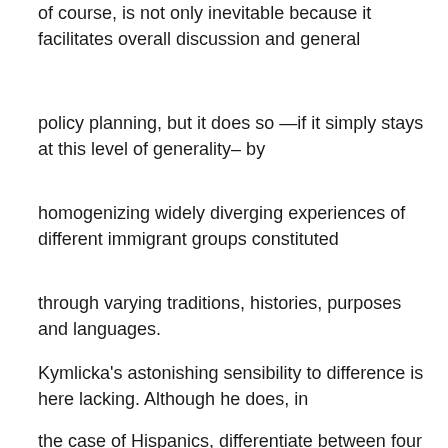of course, is not only inevitable because it facilitates overall discussion and general
policy planning, but it does so —if it simply stays at this level of generality– by
homogenizing widely diverging experiences of different immigrant groups constituted
through varying traditions, histories, purposes and languages.
Kymlicka's astonishing sensibility to difference is here lacking. Although he does, in
the case of Hispanics, differentiate between four groups –national minorities
(Chicanes and Puerto Ricans), refugees (Cubans),